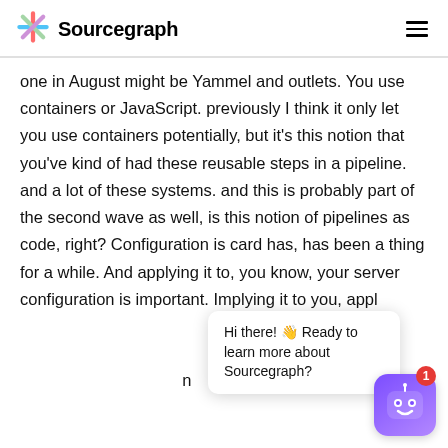Sourcegraph
one in August might be Yammel and outlets. You use containers or JavaScript. previously I think it only let you use containers potentially, but it's this notion that you've kind of had these reusable steps in a pipeline. and a lot of these systems. and this is probably part of the second wave as well, is this notion of pipelines as code, right? Configuration is card has, has been a thing for a while. And applying it to, you know, your server configuration is important. Implying it to you, applying it to your automation is also great. And now we can start thinking about you know the configuration because pipelines is so common
[Figure (other): Chat popup overlay with close button and bot icon with notification badge. Text: Hi there! Ready to learn more about Sourcegraph?]